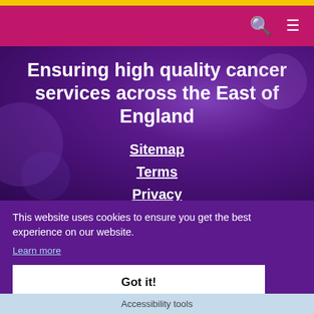Ensuring high quality cancer services across the East of England
Sitemap
Terms
Privacy
This website uses cookies to ensure you get the best experience on our website.
Learn more
Got it!
Accessibility tools